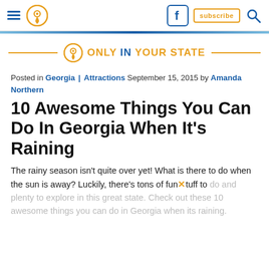Navigation bar with hamburger menu, location pin icon, Facebook icon, subscribe button, search icon
[Figure (logo): Only In Your State logo with location pin icon, orange horizontal lines on each side, text ONLY IN YOUR STATE in orange with IN in blue]
Posted in Georgia | Attractions September 15, 2015 by Amanda Northern
10 Awesome Things You Can Do In Georgia When It's Raining
The rainy season isn't quite over yet! What is there to do when the sun is away? Luckily, there's tons of fun stuff to do and plenty to explore in this great state. Check out these 10 awesome things you can do in Georgia when its raining.